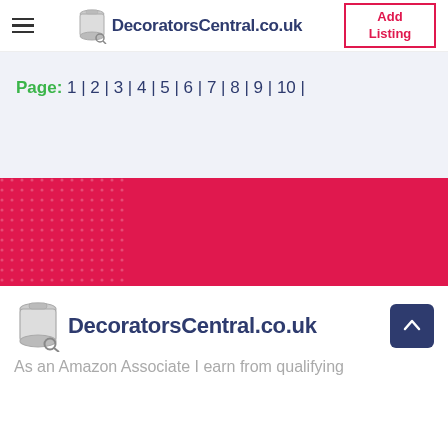DecoratorsCentral.co.uk — Add Listing
Page: 1 | 2 | 3 | 4 | 5 | 6 | 7 | 8 | 9 | 10 |
[Figure (other): Red/crimson banner with dot pattern on the left side]
[Figure (logo): DecoratorsCentral.co.uk logo with paint tin icon]
As an Amazon Associate I earn from qualifying